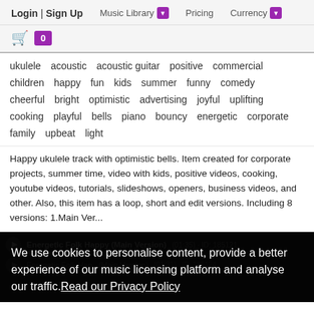Login | Sign Up   Music Library ▼   Pricing   Currency ▼
ukulele   acoustic   acoustic guitar   positive   commercial   children   happy   fun   kids   summer   funny   comedy   cheerful   bright   optimistic   advertising   joyful   uplifting   cooking   playful   bells   piano   bouncy   energetic   corporate   family   upbeat   light
Happy ukulele track with optimistic bells. Item created for corporate projects, summer time, video with kids, positive videos, cooking, youtube videos, tutorials, slideshows, openers, business videos, and other. Also, this item has a loop, short and edit versions. Including 8 versions: 1.Main Ver...
Energetic Folk Happy (Main Version) (01:35) · ID: 185121
We use cookies to personalise content, provide a better experience of our music licensing platform and analyse our traffic.Read our Privacy Policy
✓ Accept Cookies